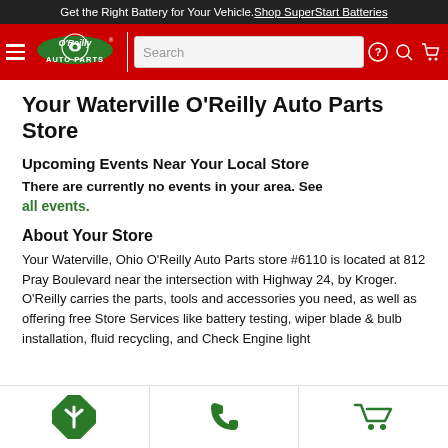Get the Right Battery for Your Vehicle. Shop SuperStart Batteries
[Figure (logo): O'Reilly Auto Parts logo with navigation bar including hamburger menu, search field, help, search, and cart icons]
Your Waterville O'Reilly Auto Parts Store
Upcoming Events Near Your Local Store
There are currently no events in your area. See all events.
About Your Store
Your Waterville, Ohio O'Reilly Auto Parts store #6110 is located at 812 Pray Boulevard near the intersection with Highway 24, by Kroger. O'Reilly carries the parts, tools and accessories you need, as well as offering free Store Services like battery testing, wiper blade & bulb installation, fluid recycling, and Check Engine light